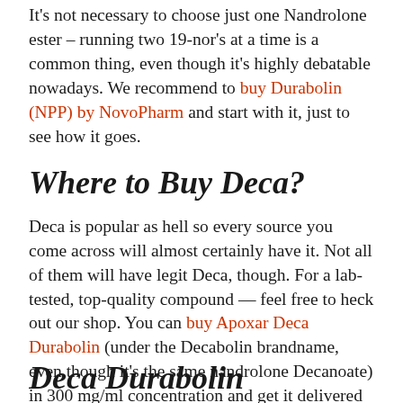It's not necessary to choose just one Nandrolone ester – running two 19-nor's at a time is a common thing, even though it's highly debatable nowadays. We recommend to buy Durabolin (NPP) by NovoPharm and start with it, just to see how it goes.
Where to Buy Deca?
Deca is popular as hell so every source you come across will almost certainly have it. Not all of them will have legit Deca, though. For a lab-tested, top-quality compound — feel free to heck out our shop. You can buy Apoxar Deca Durabolin (under the Decabolin brandname, even though it's the same nandrolone Decanoate) in 300 mg/ml concentration and get it delivered to you in no time anywhere in Canada.
Deca Durabolin Nandrolone